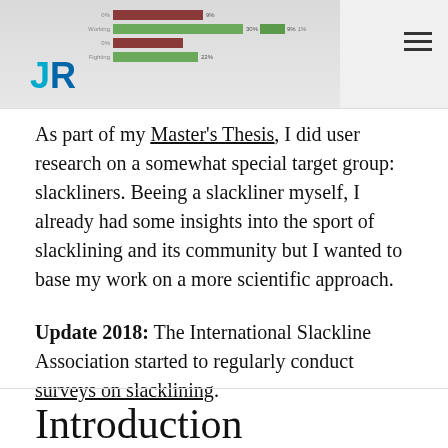[Figure (screenshot): Header area showing a partial screenshot of a bar chart with colored bars (green and dark red/brown), partially visible. A logo with stylized 'JR' letters in blue/teal appears in the lower left of the header image. A hamburger menu icon (three horizontal lines) appears in the top right.]
As part of my Master's Thesis, I did user research on a somewhat special target group: slackliners. Beeing a slackliner myself, I already had some insights into the sport of slacklining and its community but I wanted to base my work on a more scientific approach.
Update 2018: The International Slackline Association started to regularly conduct surveys on slacklining.
Introduction